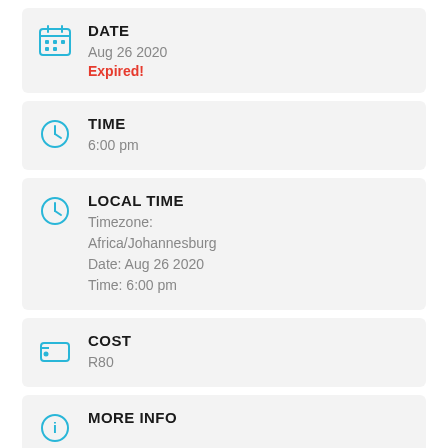DATE
Aug 26 2020
Expired!
TIME
6:00 pm
LOCAL TIME
Timezone: Africa/Johannesburg
Date: Aug 26 2020
Time: 6:00 pm
COST
R80
MORE INFO